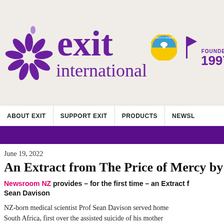[Figure (logo): Exit International logo with purple sun/flower symbol, 'exit international' text in purple, Ukraine peace badge, purple flag icon, and 'FOUNDED 1997' text]
ABOUT EXIT | SUPPORT EXIT | PRODUCTS | NEWSL
June 19, 2022
An Extract from The Price of Mercy by Se
Newsroom NZ provides – for the first time – an Extract f Sean Davison
NZ-born medical scientist Prof Sean Davison served home South Africa, first over the assisted suicide of his mother